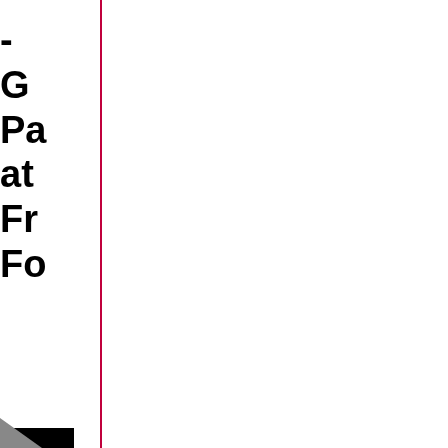- G Pa at Fr Fo
[Figure (other): Black rectangle and gray gradient rectangle with thin black horizontal line, forming part of a sidebar or tab element. Small arrow/triangle mark at bottom left.]